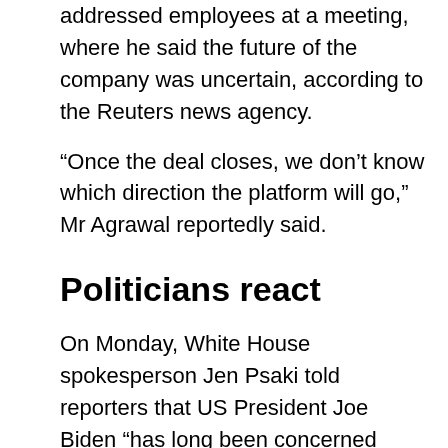addressed employees at a meeting, where he said the future of the company was uncertain, according to the Reuters news agency.
“Once the deal closes, we don’t know which direction the platform will go,” Mr Agrawal reportedly said.
Politicians react
On Monday, White House spokesperson Jen Psaki told reporters that US President Joe Biden “has long been concerned about the power of large social media platforms”, whoever owns or runs Twitter.
Democrat Senator Elizabeth Warren said the deal was “dangerous for our democracy”, while pushing for a wealth tax and “strong rules to hold Big Tech